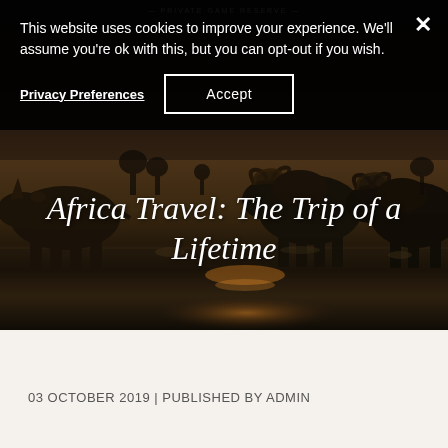PRIVATE GAME RESERVE
This website uses cookies to improve your experience. We'll assume you're ok with this, but you can opt-out if you wish.
Privacy Preferences   Accept
[Figure (photo): Dark atmospheric photo of African wildlife – a rhino on the left and two large buffalo at a watering hole at dusk, with water reflections of warm orange light]
Africa Travel: The Trip of a Lifetime
03 OCTOBER 2019 | PUBLISHED BY ADMIN